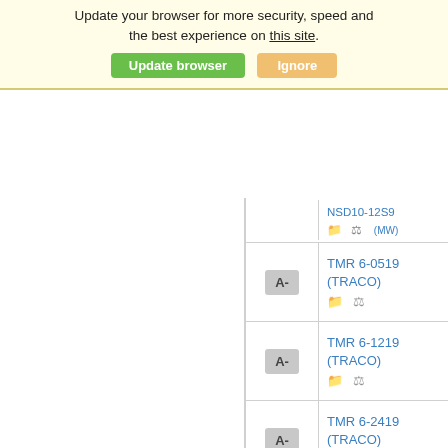Your web browser (IE 11) is out of date. Update your browser for more security, speed and the best experience on this site.
Update browser   Ignore
|  | Part | Name |
| --- | --- | --- |
| A- | TMR 6-0519 (TRACO) |  |
| A- | TMR 6-1219 (TRACO) |  |
| A- | TMR 6-2419 (TRACO) |  |
| A- | TMR 6-2419WI (TRACO) |  |
| A- | TMR 6-2419WIR (TRACO) |  |